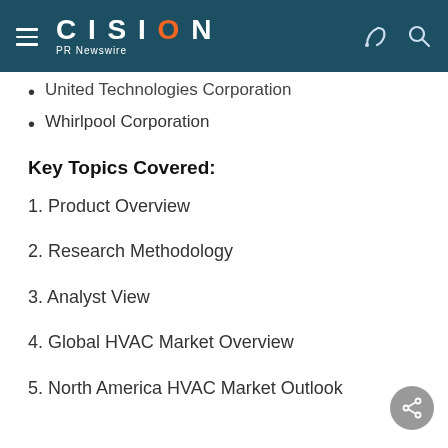CISION PR Newswire
United Technologies Corporation
Whirlpool Corporation
Key Topics Covered:
1. Product Overview
2. Research Methodology
3. Analyst View
4. Global HVAC Market Overview
5. North America HVAC Market Outlook